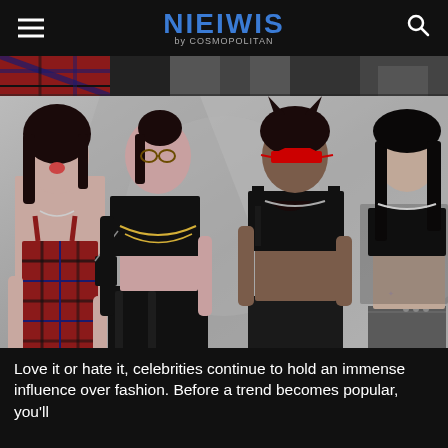NIEIWIS by Cosmopolitan
[Figure (photo): Partial top strip showing fashion/celebrity images partially cropped]
[Figure (photo): Four female celebrities/models in fashion outfits: woman in red plaid dress, woman in black crop top with Chanel bag and black leather pants, woman in black leather crop top with red sunglasses, woman in black bandeau top with grey low-rise pants]
Love it or hate it, celebrities continue to hold an immense influence over fashion. Before a trend becomes popular, you'll